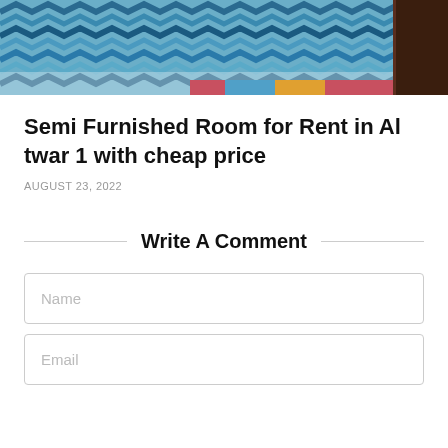[Figure (photo): Bedroom photo showing blue and white chevron/zigzag patterned bedding with a dark brown wooden headboard or furniture in the upper right corner]
Semi Furnished Room for Rent in Al twar 1 with cheap price
AUGUST 23, 2022
Write A Comment
Name
Email